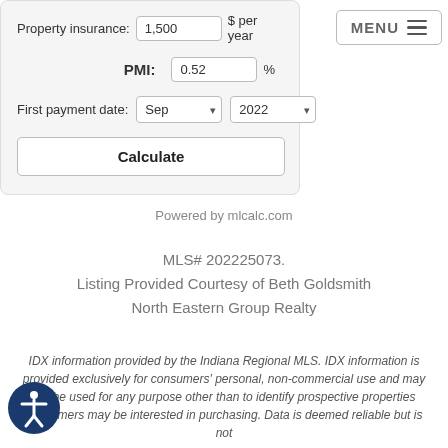[Figure (screenshot): Mortgage calculator form showing Property Insurance, PMI, and First payment date fields with a Calculate button]
Powered by mlcalc.com
MLS# 202225073.
Listing Provided Courtesy of Beth Goldsmith
North Eastern Group Realty
IDX information provided by the Indiana Regional MLS. IDX information is provided exclusively for consumers' personal, non-commercial use and may not be used for any purpose other than to identify prospective properties consumers may be interested in purchasing. Data is deemed reliable but is not